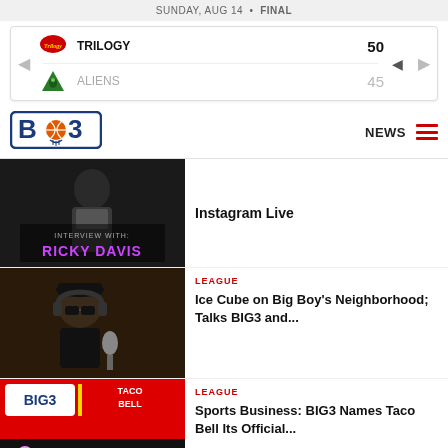SUNDAY, AUG 14 · FINAL
| Team | Score |
| --- | --- |
| TRILOGY | 50 |
| ALIENS | 45 |
[Figure (logo): BIG3 basketball league logo]
NEWS
[Figure (photo): Interview with Ricky Davis - player in jersey]
Instagram Live
LEAGUE
[Figure (photo): Ice Cube wearing headphones and sunglasses at a microphone]
Ice Cube on Big Boy's Neighborhood; Talks BIG3 and...
LEAGUE
[Figure (photo): BIG3 and Taco Bell partnership graphic - BRING THE FIRE]
Sports Business: BIG3 Names Taco Bell Its Official...